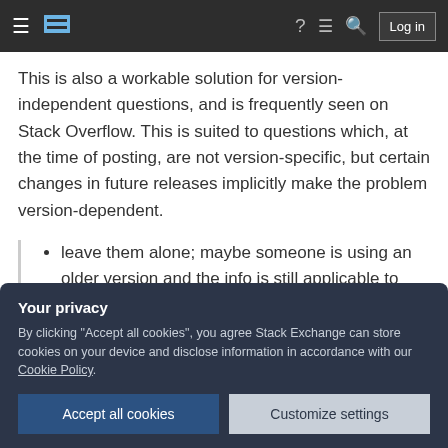Stack Exchange navigation bar with hamburger menu, logo, help, inbox, search icons, and Log in button
This is also a workable solution for version-independent questions, and is frequently seen on Stack Overflow. This is suited to questions which, at the time of posting, are not version-specific, but certain changes in future releases implicitly make the problem version-dependent.
leave them alone; maybe someone is using an older version and the info is still applicable to them?
Your privacy
By clicking "Accept all cookies", you agree Stack Exchange can store cookies on your device and disclose information in accordance with our Cookie Policy.
Accept all cookies | Customize settings
software products? If so, what can we learn